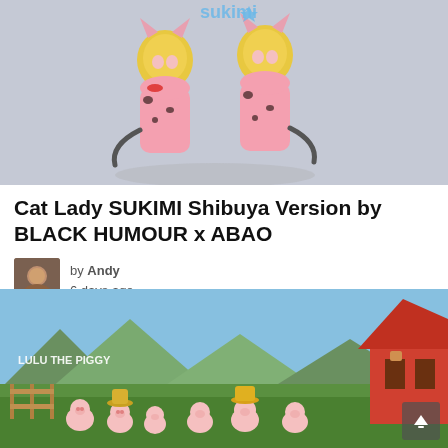[Figure (photo): Two cat lady SUKIMI figurines with blonde hair, pink cow-print outfits and cat tails, posed against a light grey background with a star logo partially visible at top.]
Cat Lady SUKIMI Shibuya Version by BLACK HUMOUR x ABAO
by Andy
6 days ago
▲  ▼  0
[Figure (photo): Multiple small pink pig figurines in a farm scene with green grass, mountains, and a wooden barn building. Lulu the Piggy branding visible in upper left corner.]